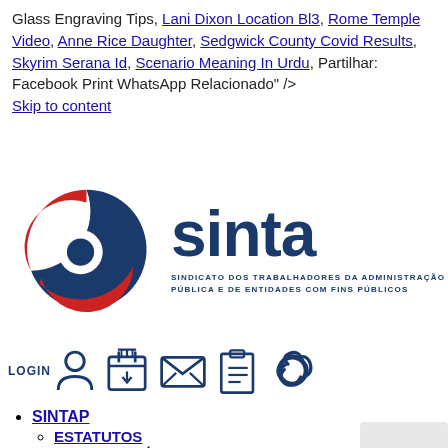Glass Engraving Tips, Lani Dixon Location Bl3, Rome Temple Video, Anne Rice Daughter, Sedgwick County Covid Results, Skyrim Serana Id, Scenario Meaning In Urdu, Partilhar: Facebook Print WhatsApp Relacionado" />
Skip to content
[Figure (logo): SINTAP logo with red and dark blue circular swoosh graphic, text 'sintap' in large dark blue bold letters, and subtitle 'SINDICATO DOS TRABALHADORES DA ADMINISTRAÇÃO PÚBLICA E DE ENTIDADES COM FINS PÚBLICOS']
[Figure (infographic): Navigation icon bar with LOGIN user icon, calendar/download icon, envelope/mail icon, document/clipboard icon, and link/chain icon, all in dark blue outline style]
SINTAP
ESTATUTOS
DATAS HISTÓRICAS
ORGÃOS
COMISSÃO EXECUTIVA